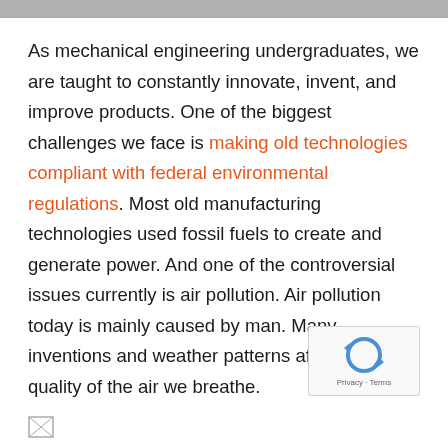As mechanical engineering undergraduates, we are taught to constantly innovate, invent, and improve products. One of the biggest challenges we face is making old technologies compliant with federal environmental regulations. Most old manufacturing technologies used fossil fuels to create and generate power. And one of the controversial issues currently is air pollution. Air pollution today is mainly caused by man. Many inventions and weather patterns affect the quality of the air we breathe.
[Figure (logo): reCAPTCHA widget with circular arrow icon and Privacy/Terms footer text]
[Figure (photo): Small broken image icon at the bottom left of the page]